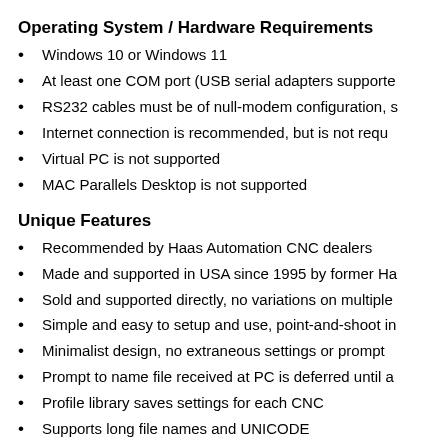Operating System / Hardware Requirements
Windows 10 or Windows 11
At least one COM port (USB serial adapters supported)
RS232 cables must be of null-modem configuration, s
Internet connection is recommended, but is not requ
Virtual PC is not supported
MAC Parallels Desktop is not supported
Unique Features
Recommended by Haas Automation CNC dealers
Made and supported in USA since 1995 by former Ha
Sold and supported directly, no variations on multiple
Simple and easy to setup and use, point-and-shoot in
Minimalist design, no extraneous settings or prompt
Prompt to name file received at PC is deferred until a
Profile library saves settings for each CNC
Supports long file names and UNICODE
ClearType compatible and DPI aware for high resolu
Multithreaded